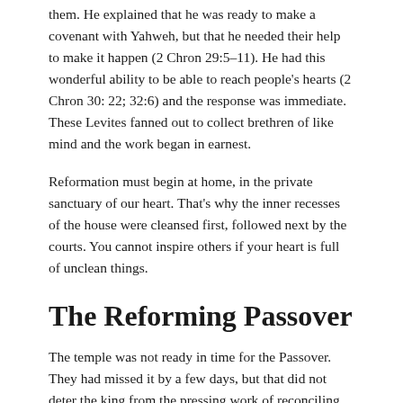them. He explained that he was ready to make a covenant with Yahweh, but that he needed their help to make it happen (2 Chron 29:5–11). He had this wonderful ability to be able to reach people's hearts (2 Chron 30: 22; 32:6) and the response was immediate. These Levites fanned out to collect brethren of like mind and the work began in earnest.
Reformation must begin at home, in the private sanctuary of our heart. That's why the inner recesses of the house were cleansed first, followed next by the courts. You cannot inspire others if your heart is full of unclean things.
The Reforming Passover
The temple was not ready in time for the Passover. They had missed it by a few days, but that did not deter the king from the pressing work of reconciling the nation to God. National and personal forgiveness was an essential part of the covenant that Hezekiah sought to make. Reformation is more than just cleaning out the rubbish. Reformation has to involve confession, reconciliation and commitment.